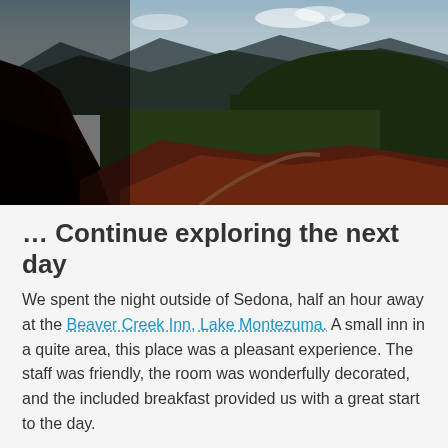[Figure (photo): Landscape photograph of a red rock canyon and mountain valley near Sedona, Arizona. The foreground shows rust-red rocky terrain with a winding dirt road, the middle ground is covered in dense green trees, and the background features layered mountain ridges under a partly cloudy sky.]
… Continue exploring the next day
We spent the night outside of Sedona, half an hour away at the Beaver Creek Inn, Lake Montezuma. A small inn in a quite area, this place was a pleasant experience. The staff was friendly, the room was wonderfully decorated, and the included breakfast provided us with a great start to the day.